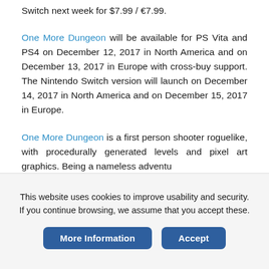Switch next week for $7.99 / €7.99.
One More Dungeon will be available for PS Vita and PS4 on December 12, 2017 in North America and on December 13, 2017 in Europe with cross-buy support. The Nintendo Switch version will launch on December 14, 2017 in North America and on December 15, 2017 in Europe.
One More Dungeon is a first person shooter roguelike, with procedurally generated levels and pixel art graphics. Being a nameless adventu…
This website uses cookies to improve usability and security. If you continue browsing, we assume that you accept these.
More Information
Accept